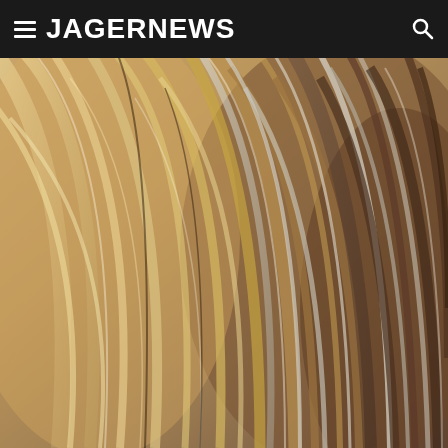JAGERNEWS
[Figure (photo): Close-up photograph of blonde and light brown hair strands, showing natural highlights and texture. Hair flows diagonally across the frame with a mix of golden blonde, sandy, and slightly grey-tinted strands.]